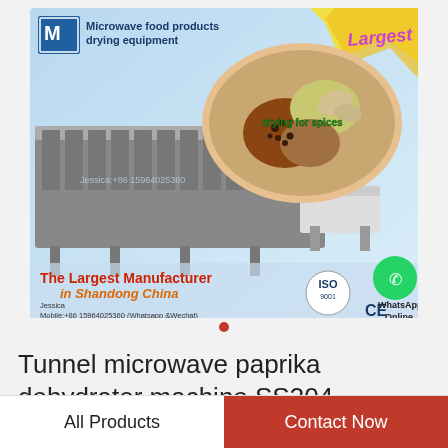[Figure (photo): Promotional image of a tunnel microwave paprika dehydrator machine. Shows industrial stainless steel conveyor drying equipment alongside a circular inset showing spices/paprika. Text overlays: 'Microwave food products drying equipment', 'Largest', 'drying for spices', 'The Largest Manufacturer in Shandong China', contact details: Jessica, Mobile:+86 15964025360 (Whatsapp &Wechat), Skype: leaderfoodmachine1, Email: sales1@ldfoodmachine.com, ISO 9001 and CE certification logos, WhatsApp Online with green phone icon.]
Tunnel microwave paprika dehydrator machine SS304
All Products
Contact Now